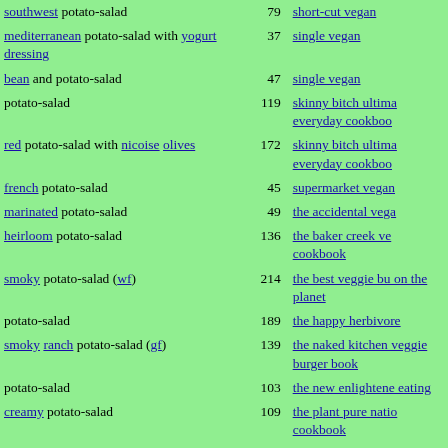| Recipe | Page | Source |
| --- | --- | --- |
| southwest potato-salad | 79 | short-cut vegan |
| mediterranean potato-salad with yogurt dressing | 37 | single vegan |
| bean and potato-salad | 47 | single vegan |
| potato-salad | 119 | skinny bitch ultimate everyday cookbook |
| red potato-salad with nicoise olives | 172 | skinny bitch ultimate everyday cookbook |
| french potato-salad | 45 | supermarket vegan |
| marinated potato-salad | 49 | the accidental vegan |
| heirloom potato-salad | 136 | the baker creek vegan cookbook |
| smoky potato-salad (wf) | 214 | the best veggie burgers on the planet |
| potato-salad | 189 | the happy herbivore |
| smoky ranch potato-salad (gf) | 139 | the naked kitchen veggie burger book |
| potato-salad | 103 | the new enlightened eating |
| creamy potato-salad | 109 | the plant pure nation cookbook |
| potato-salad with tofu dressing | 27 | the tofu cookbook |